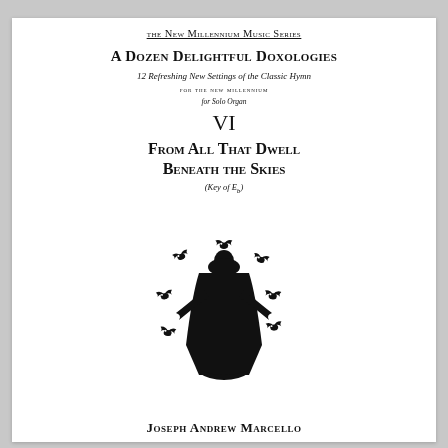the New Millennium Music Series
A Dozen Delightful Doxologies
12 Refreshing New Settings of the Classic Hymn
FOR THE NEW MILLENNIUM
for Solo Organ
VI
From All That Dwell Beneath the Skies
(Key of Eb)
[Figure (illustration): Black silhouette of a robed figure (saint/angel) surrounded by six birds (doves) in flight, arranged in a circular pattern around the figure against a white background.]
Joseph Andrew Marcello